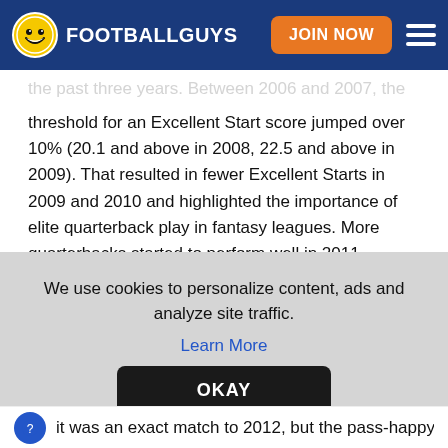FOOTBALLGUYS | JOIN NOW
the past three years. Between 2006 and 2007, the threshold for an Excellent Start score jumped over 10% (20.1 and above in 2008, 22.5 and above in 2009). That resulted in fewer Excellent Starts in 2009 and 2010 and highlighted the importance of elite quarterback play in fantasy leagues. More quarterbacks started to perform well in 2011, upping the number of Excellent Starts significantly (150 in 2011, only 127 in 2010). Eight years ago
We use cookies to personalize content, ads and analyze site traffic. Learn More OKAY
it was an exact match to 2012, but the pass-happy